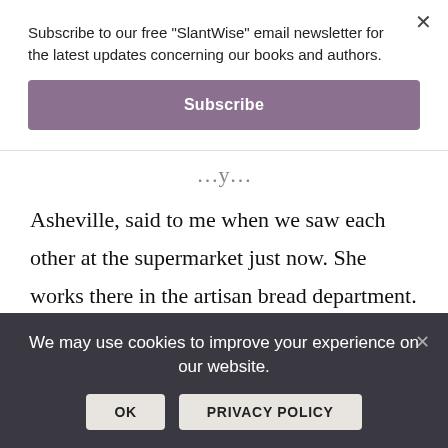Subscribe to our free "SlantWise" email newsletter for the latest updates concerning our books and authors.
Subscribe
Asheville, said to me when we saw each other at the supermarket just now. She works there in the artisan bread department. At first, we kept our distance—each of us touching our own hearts then putting our hands together in front of our hearts then bumping elbows. Then we dropped the distance between us, held each
We may use cookies to improve your experience on our website.
OK
PRIVACY POLICY